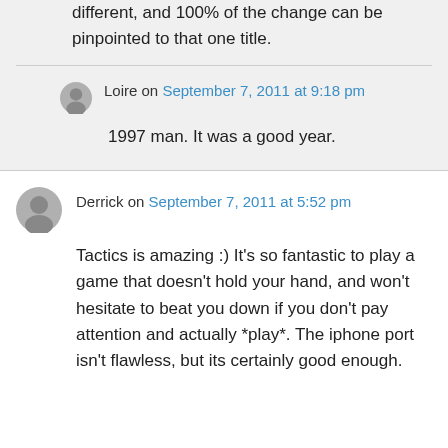different, and 100% of the change can be pinpointed to that one title.
Loire on September 7, 2011 at 9:18 pm
1997 man. It was a good year.
Derrick on September 7, 2011 at 5:52 pm
Tactics is amazing :) It's so fantastic to play a game that doesn't hold your hand, and won't hesitate to beat you down if you don't pay attention and actually *play*. The iphone port isn't flawless, but its certainly good enough.